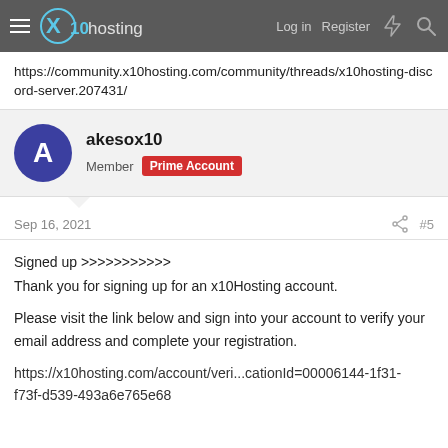x10hosting — Log in   Register
https://community.x10hosting.com/community/threads/x10hosting-discord-server.207431/
akesox10
Member  Prime Account
Sep 16, 2021  #5
Signed up >>>>>>>>>>>
Thank you for signing up for an x10Hosting account.

Please visit the link below and sign into your account to verify your
email address and complete your registration.

https://x10hosting.com/account/veri...cationId=00006144-1f31-f73f-d539-493a6e765e68